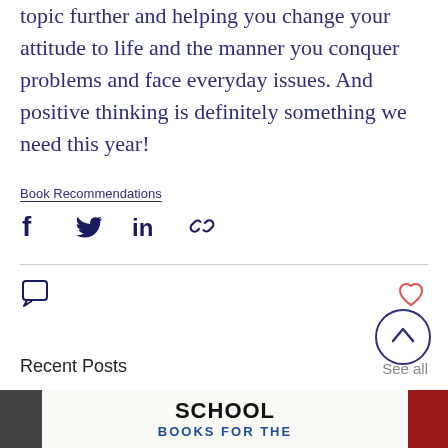topic further and helping you change your attitude to life and the manner you conquer problems and face everyday issues. And positive thinking is definitely something we need this year!
Book Recommendations
[Figure (infographic): Social share icons: Facebook, Twitter, LinkedIn, and link/chain icon]
[Figure (infographic): Interaction row: comment bubble icon on left, heart/like icon on right]
[Figure (infographic): Back to top button: circle with upward chevron]
Recent Posts
See all
[Figure (photo): Preview of recent blog post with school books image: SCHOOL BOOKS FOR THE ...]